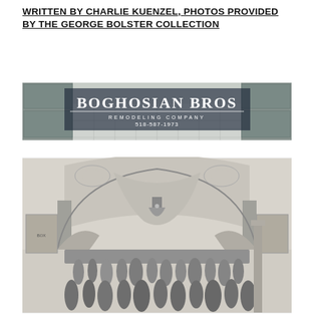WRITTEN BY CHARLIE KUENZEL, PHOTOS PROVIDED BY THE GEORGE BOLSTER COLLECTION
[Figure (photo): Advertisement banner for Boghosian Bros Remodeling Company showing a kitchen background with the company name in large serif text, subtext 'REMODELING COMPANY' and phone number '518-587-1973']
[Figure (illustration): Black and white historical illustration of a grand ballroom or theater interior with ornate arched ceilings, draperies, a chandelier, columns, and a large crowd of people in 19th century formal attire dancing or attending an event.]